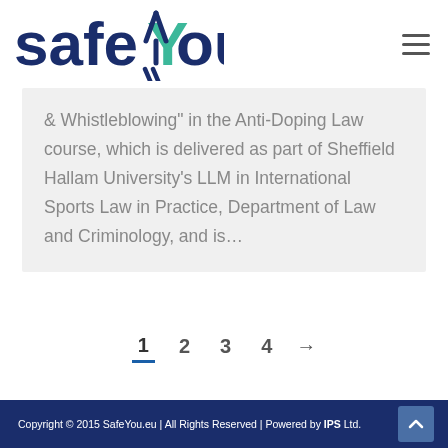SafeYou logo and navigation menu
& Whistleblowing” in the Anti-Doping Law course, which is delivered as part of Sheffield Hallam University’s LLM in International Sports Law in Practice, Department of Law and Criminology, and is…
1 2 3 4 →
Copyright © 2015 SafeYou.eu | All Rights Reserved | Powered by IPS Ltd.